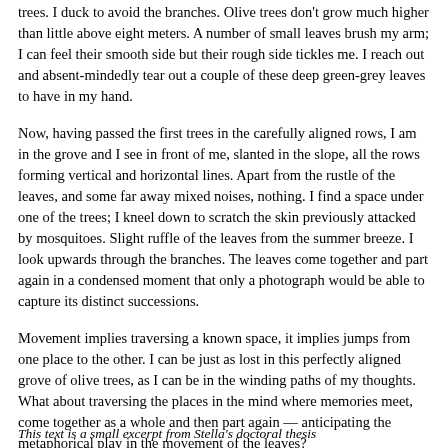trees. I duck to avoid the branches. Olive trees don't grow much higher than little above eight meters. A number of small leaves brush my arm; I can feel their smooth side but their rough side tickles me. I reach out and absent-mindedly tear out a couple of these deep green-grey leaves to have in my hand.
Now, having passed the first trees in the carefully aligned rows, I am in the grove and I see in front of me, slanted in the slope, all the rows forming vertical and horizontal lines. Apart from the rustle of the leaves, and some far away mixed noises, nothing. I find a space under one of the trees; I kneel down to scratch the skin previously attacked by mosquitoes. Slight ruffle of the leaves from the summer breeze. I look upwards through the branches. The leaves come together and part again in a condensed moment that only a photograph would be able to capture its distinct successions.
Movement implies traversing a known space, it implies jumps from one place to the other. I can be just as lost in this perfectly aligned grove of olive trees, as I can be in the winding paths of my thoughts. What about traversing the places in the mind where memories meet, come together as a whole and then part again — anticipating the metaphorical play in the movement of the leaves?
This text is a small excerpt from Stella's doctoral thesis